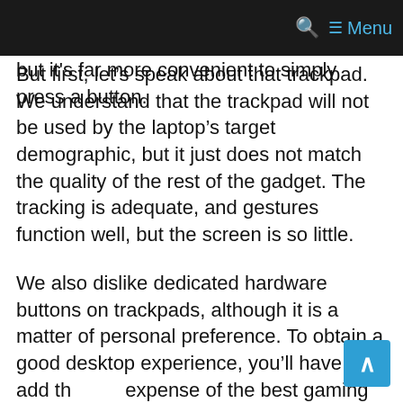Menu (navigation bar with search and menu icons)
speed to lighting profiles. All of these actions can be managed with software, but it's far more convenient to simply press a button.
But first, let's speak about that trackpad. We understand that the trackpad will not be used by the laptop's target demographic, but it just does not match the quality of the rest of the gadget. The tracking is adequate, and gestures function well, but the screen is so little.
We also dislike dedicated hardware buttons on trackpads, although it is a matter of personal preference. To obtain a good desktop experience, you'll have to add the expense of the best gaming mouse to the already high price of this laptop.